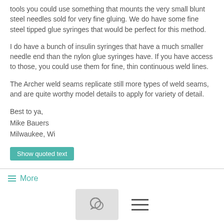tools you could use something that mounts the very small blunt steel needles sold for very fine gluing. We do have some fine steel tipped glue syringes that would be perfect for this method.
I do have a bunch of insulin syringes that have a much smaller needle end than the nylon glue syringes have. If you have access to those, you could use them for fine, thin continuous weld lines.
The Archer weld seams replicate still more types of weld seams, and are quite worthy model details to apply for variety of detail.
Best to ya,
Mike Bauers
Milwaukee, Wi
Show quoted text
More